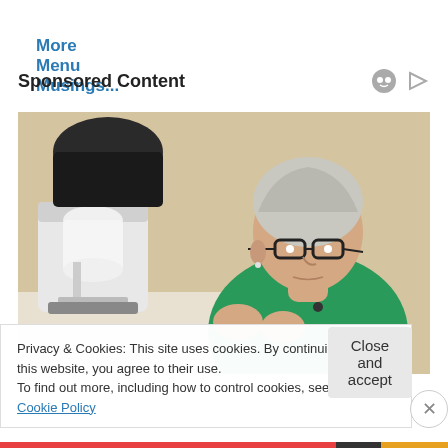More Menu Musings...
Sponsored Content
[Figure (photo): Elderly woman wearing glasses and a green shirt, working at a sewing machine on the left side of the frame. The background is a warm beige/tan color.]
Privacy & Cookies: This site uses cookies. By continuing to use this website, you agree to their use.
To find out more, including how to control cookies, see here: Cookie Policy
Close and accept